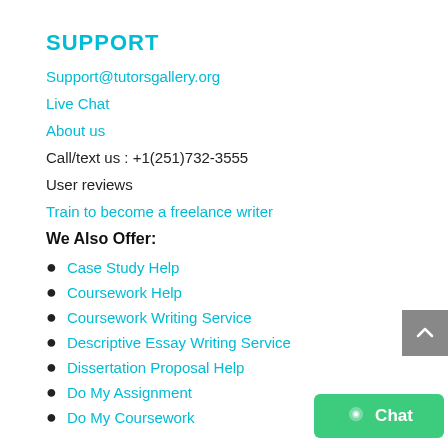SUPPORT
Support@tutorsgallery.org
Live Chat
About us
Call/text us : +1(251)732-3555
User reviews
Train to become a freelance writer
We Also Offer:
Case Study Help
Coursework Help
Coursework Writing Service
Descriptive Essay Writing Service
Dissertation Proposal Help
Do My Assignment
Do My Coursework